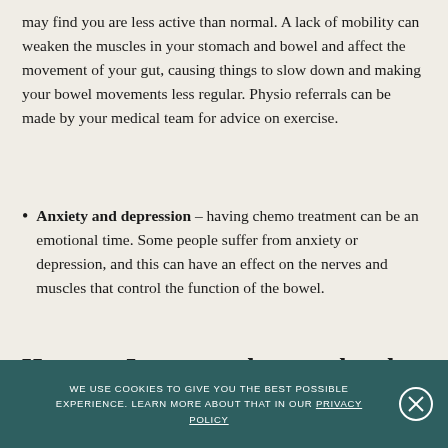may find you are less active than normal. A lack of mobility can weaken the muscles in your stomach and bowel and affect the movement of your gut, causing things to slow down and making your bowel movements less regular. Physio referrals can be made by your medical team for advice on exercise.
Anxiety and depression – having chemo treatment can be an emotional time. Some people suffer from anxiety or depression, and this can have an effect on the nerves and muscles that control the function of the bowel.
How can I manage chemo-related constipation?
WE USE COOKIES TO GIVE YOU THE BEST POSSIBLE EXPERIENCE. LEARN MORE ABOUT THAT IN OUR PRIVACY POLICY